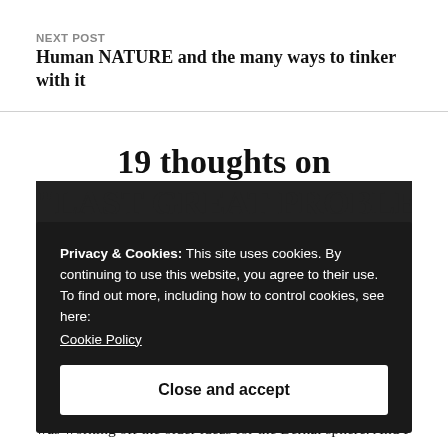NEXT POST
Human NATURE and the many ways to tinker with it
19 thoughts on
Privacy & Cookies: This site uses cookies. By continuing to use this website, you agree to their use.
To find out more, including how to control cookies, see here:
Cookie Policy
Close and accept
was working off the older ideas for the Bernal sphere. And I